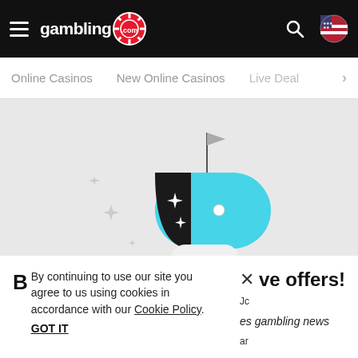gambling.com
Online Casinos  New Online Casinos  Live Dea…
[Figure (illustration): Animated mailbox illustration: open cyan/turquoise mailbox with a flag raised, dark flap open showing sparkle stars, white body, post on grey background. Decorative sparkle/diamond shapes to the left.]
By continuing to use our site you agree to us using cookies in accordance with our Cookie Policy.
GOT IT
ve offers!
es gambling news